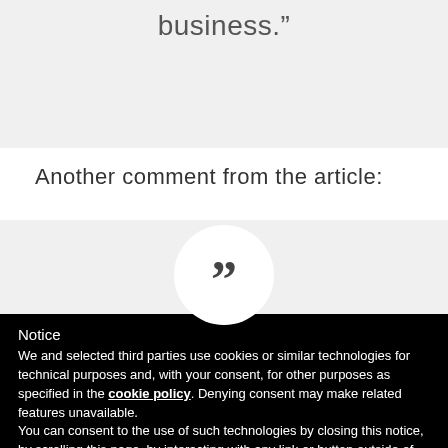business."
Another comment from the article:
[Figure (other): Large quotation mark icon inside a white circle on a light gray background]
Notice
We and selected third parties use cookies or similar technologies for technical purposes and, with your consent, for other purposes as specified in the cookie policy. Denying consent may make related features unavailable.
You can consent to the use of such technologies by closing this notice, by scrolling this page, by interacting with any link or button outside of this notice or by continuing to browse otherwise.